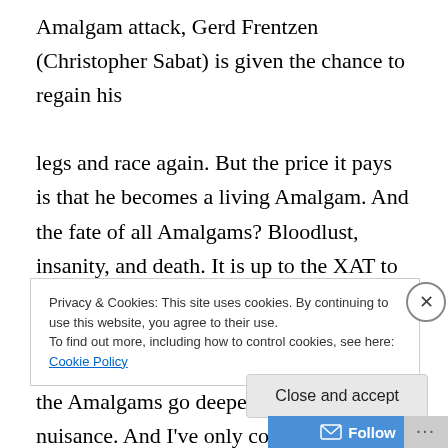Amalgam attack, Gerd Frentzen (Christopher Sabat) is given the chance to regain his

legs and race again. But the price it pays is that he becomes a living Amalgam. And the fate of all Amalgams? Bloodlust, insanity, and death. It is up to the XAT to discover the cause of a living Amalgam and what this would mean for the furure of Germany and the rest of the world. But the Amalgams go deeper than a mere nuisance. And I've only covered the first 6 episodes. You have to watch the rest for yourself.
Privacy & Cookies: This site uses cookies. By continuing to use this website, you agree to their use.
To find out more, including how to control cookies, see here: Cookie Policy
Close and accept
Follow